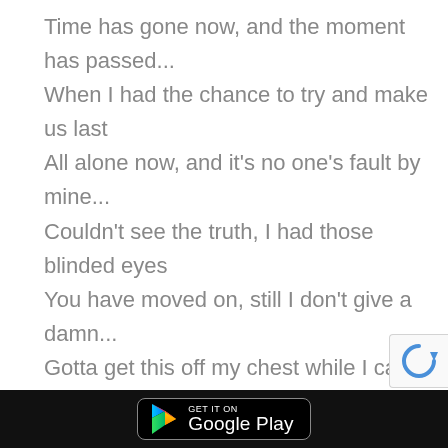Time has gone now, and the moment has passed...
When I had the chance to try and make us last
All alone now, and it's no one's fault by mine...
Couldn't see the truth, I had those blinded eyes
You have moved on, still I don't give a damn...
Gotta get this off my chest while I can
[Figure (logo): Google Play store download badge with play arrow icon, on black rounded rectangle]
[Figure (logo): reCAPTCHA widget partial view in bottom right corner]